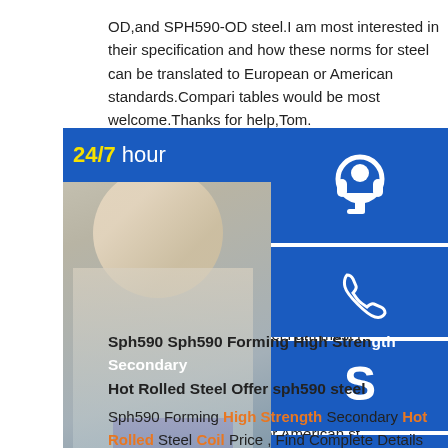OD,and SPH590-OD steel.I am most interested in their specification and how these norms for steel can be translated to European or American standards.Compari tables would be most welcome.Thanks for help,Tom. SPC270C,SPH440-OD,and SPH590-O... needed SPC270C,SPH440-OD,and S... info needed tkucyk (Industrial) (OP) 4 I am looking for information about SPC... OD,and SPH590-OD steel.I am most i... specification and how these norms for translated to European or American st...
[Figure (infographic): 24/7 hour chat widget with customer service photo, headset icon, phone icon, Skype icon, and Click to chat button]
Sph590 Sph590 Forming High Strength Hot Rolled Steel Offer sph590 steel
Sph590 Forming High Strength Secondary Hot Rolled Steel Coil Price , Find Complete Details about Sph590 Forming High Strength Secondary Hot Rolled Steel Coil Price,Secondary Hot Rolled Steel Coil,Sph590 Forming High Strength Hot Rolled Steel Coil,Hot Rolled Steel Coil Price from Steel Sheets Supplier or...